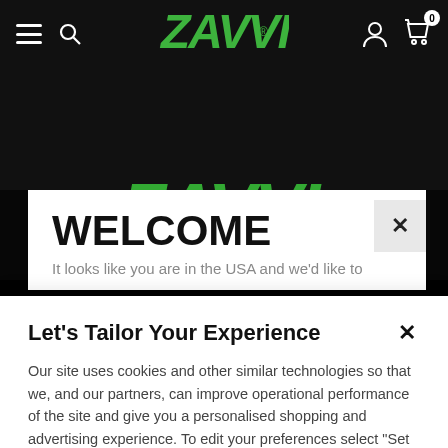[Figure (screenshot): Zavvi website navigation bar with hamburger menu, search icon, Zavvi green logo, user icon, and cart icon with badge showing 0]
[Figure (screenshot): Zavvi hero banner with large green italic ZAVVI logo and INTO POP subtitle on dark background]
WELCOME
Let's Tailor Your Experience
Our site uses cookies and other similar technologies so that we, and our partners, can improve operational performance of the site and give you a personalised shopping and advertising experience. To edit your preferences select "Set Preferences" where you can change these at any time. Find out more information here.
Set Preferences
That's OK